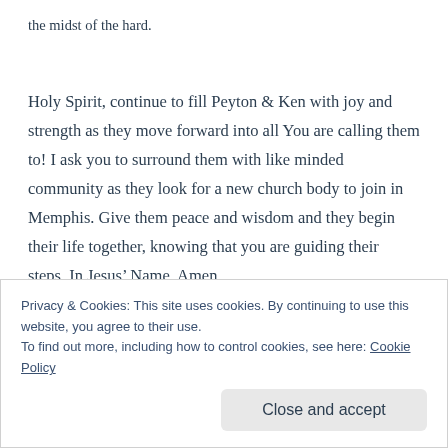the midst of the hard.
Holy Spirit, continue to fill Peyton & Ken with joy and strength as they move forward into all You are calling them to! I ask you to surround them with like minded community as they look for a new church body to join in Memphis. Give them peace and wisdom and they begin their life together, knowing that you are guiding their steps. In Jesus’ Name, Amen.
Privacy & Cookies: This site uses cookies. By continuing to use this website, you agree to their use.
To find out more, including how to control cookies, see here: Cookie Policy
Close and accept